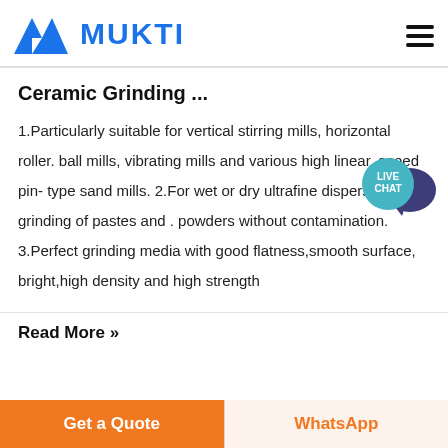[Figure (logo): Mukti logo with blue M triangle icon and MUKTI text in bold blue]
Ceramic Grinding ...
1.Particularly suitable for vertical stirring mills, horizontal roller. ball mills, vibrating mills and various high linear, speed pin- type sand mills. 2.For wet or dry ultrafine dispersion and grinding of pastes and . powders without contamination. 3.Perfect grinding media with good flatness,smooth surface, bright,high density and high strength
Read More »